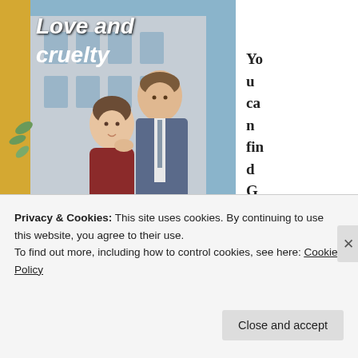[Figure (illustration): Book cover illustration for 'Love and Cruelty: A Pride and Prejudice Variation' showing a young woman in a red sweater and a tall man in a blue suit on a balcony with ironwork fence and European building in background. Cover title 'Love and Cruelty' in bold italic white text at top, subtitle 'A Pride and Prejudice Variation' in italic white at bottom.]
You can find Games of Lo
d Cru...
Privacy & Cookies: This site uses cookies. By continuing to use this website, you agree to their use.
To find out more, including how to control cookies, see here: Cookie Policy
Close and accept